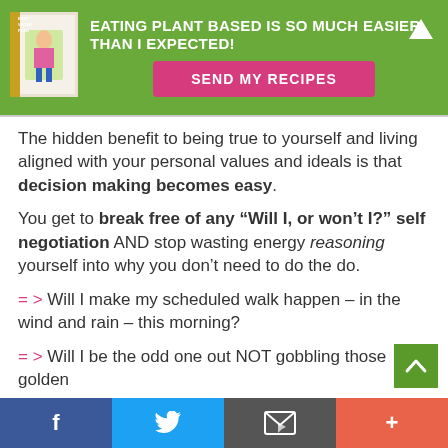[Figure (infographic): Green banner with book image, white bold text reading 'EATING PLANT BASED IS SO MUCH EASIER THAN I EXPECTED!' and a pink 'SEND MY RECIPES' button, with a white up-arrow icon in the top right.]
The hidden benefit to being true to yourself and living aligned with your personal values and ideals is that decision making becomes easy.
You get to break free of any “Will I, or won’t I?” self negotiation AND stop wasting energy reasoning yourself into why you don’t need to do the do.
=> Will I make my scheduled walk happen – in the wind and rain – this morning?
=> Will I be the odd one out NOT gobbling those golden
[Figure (infographic): Social sharing bar at bottom with Facebook, Twitter, email, and plus icons. Also a green back-to-top chevron button.]